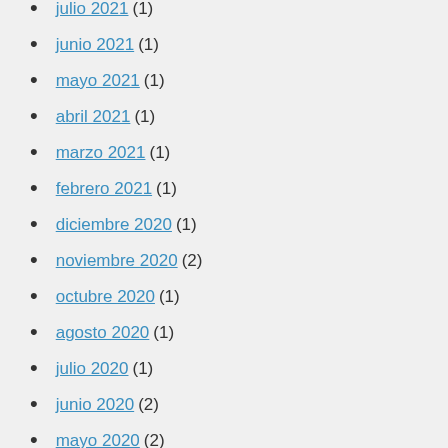julio 2021 (1)
junio 2021 (1)
mayo 2021 (1)
abril 2021 (1)
marzo 2021 (1)
febrero 2021 (1)
diciembre 2020 (1)
noviembre 2020 (2)
octubre 2020 (1)
agosto 2020 (1)
julio 2020 (1)
junio 2020 (2)
mayo 2020 (2)
abril 2020 (3)
marzo 2020 (1)
febrero 2020 (2)